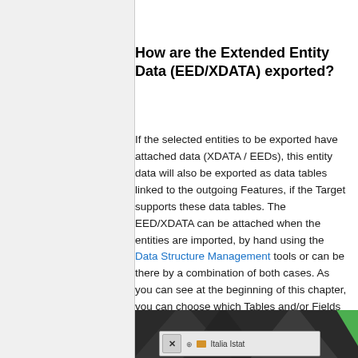How are the Extended Entity Data (EED/XDATA) exported?
If the selected entities to be exported have attached data (XDATA / EEDs), this entity data will also be exported as data tables linked to the outgoing Features, if the Target supports these data tables. The EED/XDATA can be attached when the entities are imported, by hand using the Data Structure Management tools or can be there by a combination of both cases. As you can see at the beginning of this chapter, you can choose which Tables and/or Fields will be exported
[Figure (screenshot): Screenshot showing a dialog window with 'Italia Istat' folder item, with a close button (X), expand icon (+), and folder icon on a dark triangular background with green corner element.]